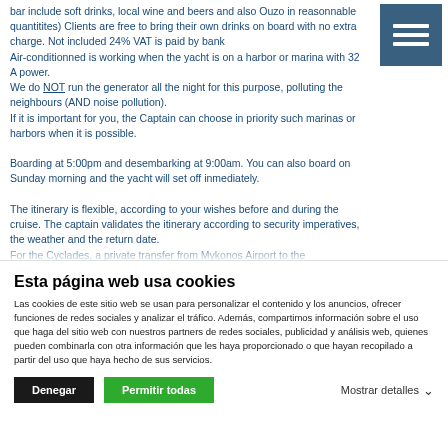bar include soft drinks, local wine and beers and also Ouzo in reasonnable quantitites) Clients are free to bring their own drinks on board with no extra charge. Not included 24% VAT is paid by bank
Air-conditionned is working when the yacht is on a harbor or marina with 32 A power.
We do NOT run the generator all the night for this purpose, polluting the neighbours (AND noise pollution).
If it is important for you, the Captain can choose in priority such marinas or harbors when it is possible.

Boarding at 5:00pm and desembarking at 9:00am. You can also board on Sunday morning and the yacht will set off inmediately.

The itinerary is flexible, according to your wishes before and during the cruise. The captain validates the itinerary according to security imperatives, the weather and the return date.
For the Cyclades, a private transfer from Mykonos Airport to the
Esta página web usa cookies
Las cookies de este sitio web se usan para personalizar el contenido y los anuncios, ofrecer funciones de redes sociales y analizar el tráfico. Además, compartimos información sobre el uso que haga del sitio web con nuestros partners de redes sociales, publicidad y análisis web, quienes pueden combinarla con otra información que les haya proporcionado o que hayan recopilado a partir del uso que haya hecho de sus servicios.
Denegar
Permitir todas
Mostrar detalles